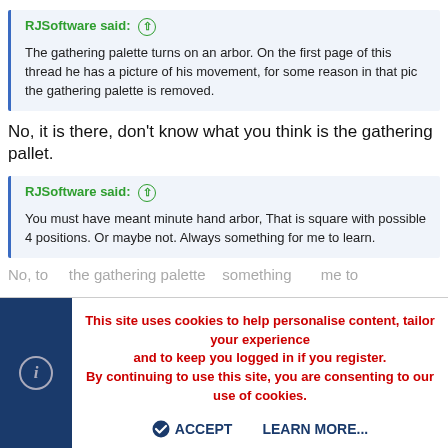RJSoftware said: ↑
The gathering palette turns on an arbor. On the first page of this thread he has a picture of his movement, for some reason in that pic the gathering palette is removed.
No, it is there, don't know what you think is the gathering pallet.
RJSoftware said: ↑
You must have meant minute hand arbor, That is square with possible 4 positions. Or maybe not. Always something for me to learn.
No, to...the gathering palette...some...
This site uses cookies to help personalise content, tailor your experience and to keep you logged in if you register. By continuing to use this site, you are consenting to our use of cookies.
ACCEPT  LEARN MORE...